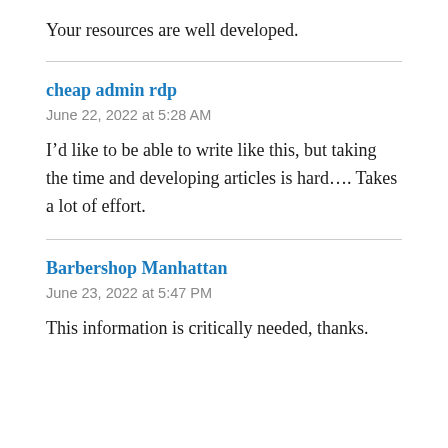Your resources are well developed.
cheap admin rdp
June 22, 2022 at 5:28 AM
I’d like to be able to write like this, but taking the time and developing articles is hard…. Takes a lot of effort.
Barbershop Manhattan
June 23, 2022 at 5:47 PM
This information is critically needed, thanks.